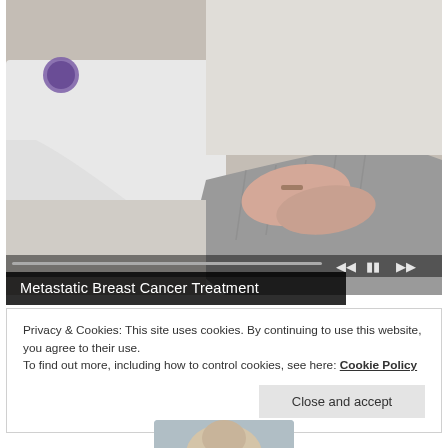[Figure (photo): A doctor in a white coat holding a patient's hands reassuringly. The doctor has a stethoscope and a bracelet. The patient is wearing a grey knit sweater. A video player progress bar and playback controls (skip back, pause, skip forward) are overlaid at the bottom of the image.]
Metastatic Breast Cancer Treatment
Privacy & Cookies: This site uses cookies. By continuing to use this website, you agree to their use.
To find out more, including how to control cookies, see here: Cookie Policy
[Figure (photo): Partial view of a person's head/face at the bottom of the page, cropped.]